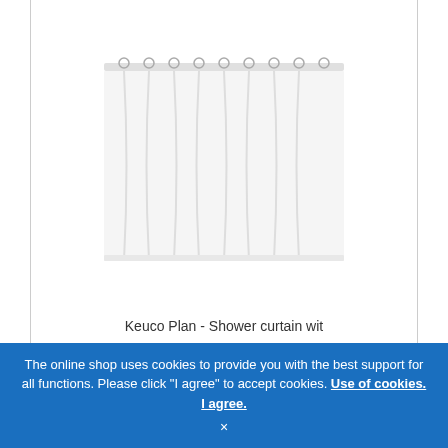[Figure (photo): White shower curtain with metal rings at the top, hanging in folds]
Keuco Plan - Shower curtain wit
€ 309.52* (old price, strikethrough) | € 150.03 (new price)
Delivery time: ■■■ ongeveer 1-2 weken
Article no.: 14946000130
The online shop uses cookies to provide you with the best support for all functions. Please click "I agree" to accept cookies. Use of cookies. I agree. ×